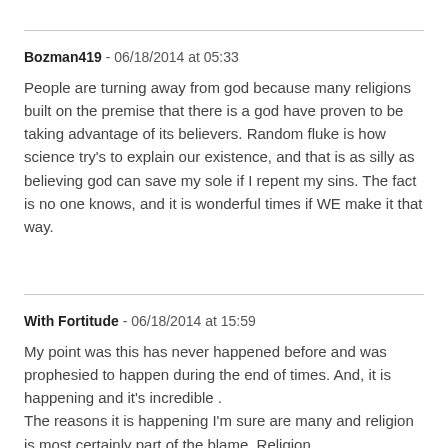Bozman419 - 06/18/2014 at 05:33
People are turning away from god because many religions built on the premise that there is a god have proven to be taking advantage of its believers. Random fluke is how science try's to explain our existence, and that is as silly as believing god can save my sole if I repent my sins. The fact is no one knows, and it is wonderful times if WE make it that way.
With Fortitude - 06/18/2014 at 15:59
My point was this has never happened before and was prophesied to happen during the end of times. And, it is happening and it's incredible . The reasons it is happening I'm sure are many and religion is most certainly part of the blame. Religion